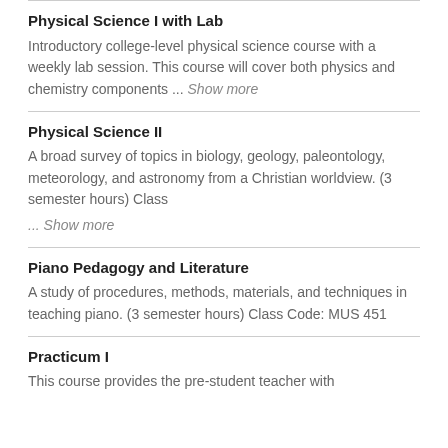Physical Science I with Lab
Introductory college-level physical science course with a weekly lab session. This course will cover both physics and chemistry components ... Show more
Physical Science II
A broad survey of topics in biology, geology, paleontology, meteorology, and astronomy from a Christian worldview. (3 semester hours) Class
... Show more
Piano Pedagogy and Literature
A study of procedures, methods, materials, and techniques in teaching piano. (3 semester hours) Class Code: MUS 451
Practicum I
This course provides the pre-student teacher with